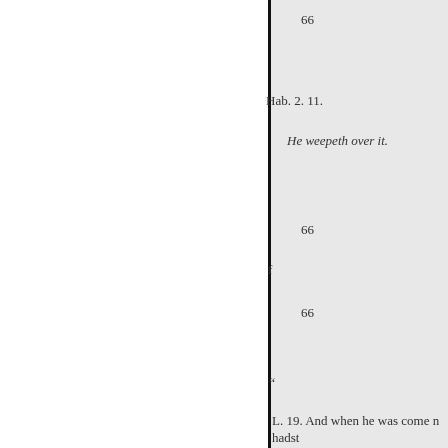66
Hab. 2. 11.
He weepeth over it.
66
f
66
“
L. 19. And when he was come n
hadst